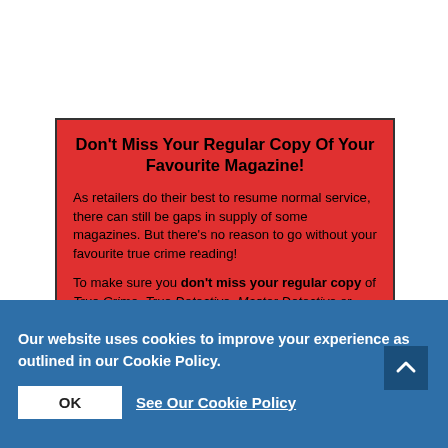Don't Miss Your Regular Copy Of Your Favourite Magazine!
As retailers do their best to resume normal service, there can still be gaps in supply of some magazines. But there's no reason to go without your favourite true crime reading!
To make sure you don't miss your regular copy of True Crime, True Detective, Master Detective or Murder Most Foul (and True
Our website uses cookies to improve your experience as outlined in our Cookie Policy.
OK
See Our Cookie Policy